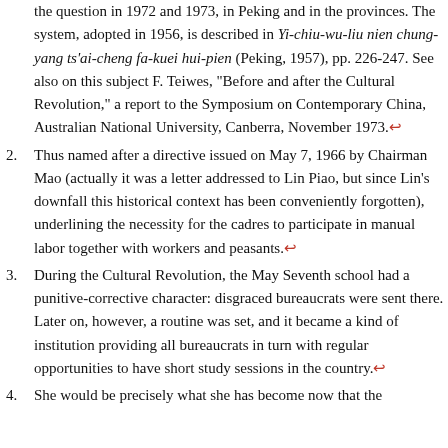(continuation) the question in 1972 and 1973, in Peking and in the provinces. The system, adopted in 1956, is described in Yi-chiu-wu-liu nien chung-yang ts'ai-cheng fa-kuei hui-pien (Peking, 1957), pp. 226-247. See also on this subject F. Teiwes, "Before and after the Cultural Revolution," a report to the Symposium on Contemporary China, Australian National University, Canberra, November 1973.
2. Thus named after a directive issued on May 7, 1966 by Chairman Mao (actually it was a letter addressed to Lin Piao, but since Lin's downfall this historical context has been conveniently forgotten), underlining the necessity for the cadres to participate in manual labor together with workers and peasants.
3. During the Cultural Revolution, the May Seventh school had a punitive-corrective character: disgraced bureaucrats were sent there. Later on, however, a routine was set, and it became a kind of institution providing all bureaucrats in turn with regular opportunities to have short study sessions in the country.
4. She would be precisely what she has become now that the